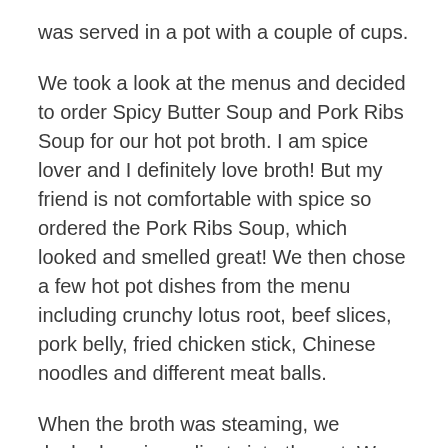was served in a pot with a couple of cups.
We took a look at the menus and decided to order Spicy Butter Soup and Pork Ribs Soup for our hot pot broth. I am spice lover and I definitely love broth! But my friend is not comfortable with spice so ordered the Pork Ribs Soup, which looked and smelled great! We then chose a few hot pot dishes from the menu including crunchy lotus root, beef slices, pork belly, fried chicken stick, Chinese noodles and different meat balls.
When the broth was steaming, we dunked our ingredients into the pot. We waited a few minutes until they floated, looked at the delicious dishes which smelled great and finally we tucked in. Delicious.